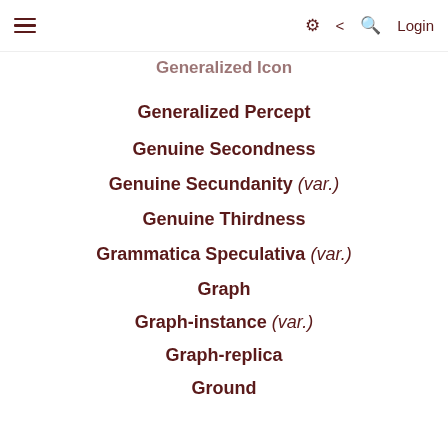≡  ⚙ < Q Login
Generalized Icon
Generalized Percept
Genuine Secondness
Genuine Secundanity (var.)
Genuine Thirdness
Grammatica Speculativa (var.)
Graph
Graph-instance (var.)
Graph-replica
Ground